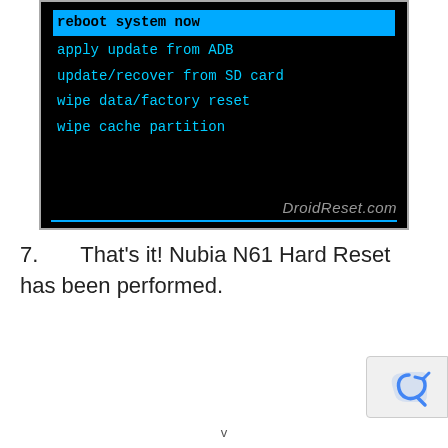[Figure (screenshot): Android recovery mode screenshot showing menu: 'reboot system now' highlighted in blue, then 'apply update from ADB', 'update/recover from SD card', 'wipe data/factory reset', 'wipe cache partition' in cyan text on black background. Watermark 'DroidReset.com' in bottom right.]
7. That's it! Nubia N61 Hard Reset has been performed.